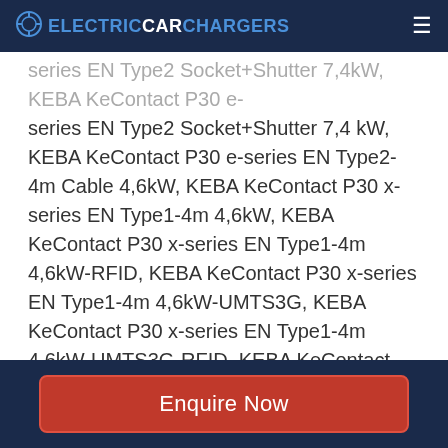ELECTRICCARCHARGERS
series EN Type2 Socket+Shutter 7,4 kW, KEBA KeContact P30 e-series EN Type2-4m Cable 4,6kW, KEBA KeContact P30 x-series EN Type1-4m 4,6kW, KEBA KeContact P30 x-series EN Type1-4m 4,6kW-RFID, KEBA KeContact P30 x-series EN Type1-4m 4,6kW-UMTS3G, KEBA KeContact P30 x-series EN Type1-4m 4,6kW-UMTS3G-RFID, KEBA KeContact P30 x-series EN Type2 Socket 22kW, KEBA KeContact P30 x-series EN Type2 Socket 22kW-MID, KEBA KeContact P30 x-series EN Type2 Socket 22kW-RFID, KEBA KeContact P30 x-series EN Type2 Socket 22kW-RFID-MID, KEBA KeContact P30 x-
Enquire Now